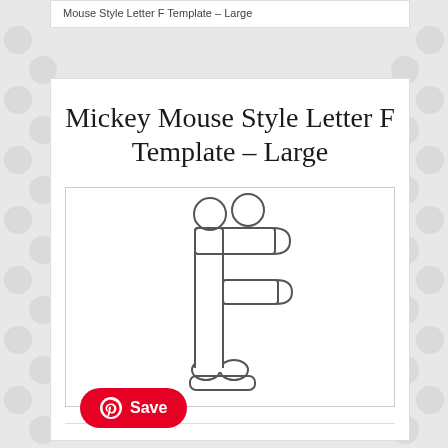Mouse Style Letter F Template – Large
Mickey Mouse Style Letter F Template – Large
[Figure (illustration): Mickey Mouse style letter F template outline drawing – large size. Shows the letter F with Mickey Mouse ears at the top and feet/shoes at the bottom, rendered as a black outline on white background suitable for use as a craft template.]
[Figure (logo): Pinterest Save button – red rounded rectangle with Pinterest circular P logo icon and the word Save in white text]